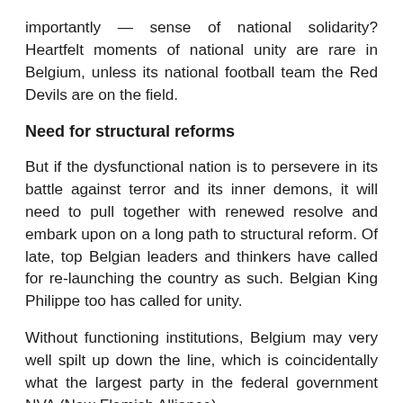importantly — sense of national solidarity? Heartfelt moments of national unity are rare in Belgium, unless its national football team the Red Devils are on the field.
Need for structural reforms
But if the dysfunctional nation is to persevere in its battle against terror and its inner demons, it will need to pull together with renewed resolve and embark upon on a long path to structural reform. Of late, top Belgian leaders and thinkers have called for re-launching the country as such. Belgian King Philippe too has called for unity.
Without functioning institutions, Belgium may very well spilt up down the line, which is coincidentally what the largest party in the federal government NVA (New Flemish Alliance)